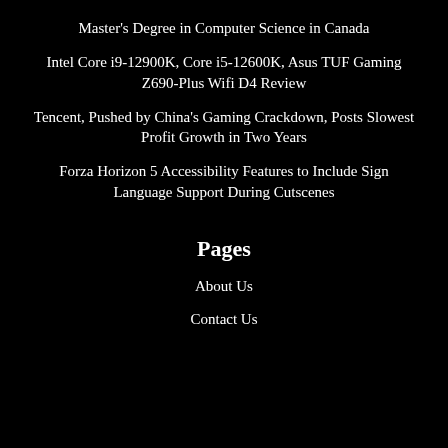Master’s Degree in Computer Science in Canada
Intel Core i9-12900K, Core i5-12600K, Asus TUF Gaming Z690-Plus Wifi D4 Review
Tencent, Pushed by China’s Gaming Crackdown, Posts Slowest Profit Growth in Two Years
Forza Horizon 5 Accessibility Features to Include Sign Language Support During Cutscenes
Pages
About Us
Contact Us